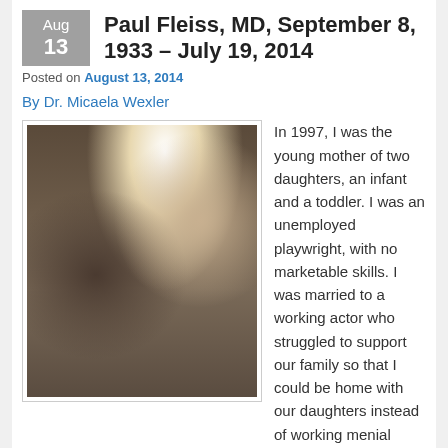Paul Fleiss, MD, September 8, 1933 – July 19, 2014
Posted on August 13, 2014
By Dr. Micaela Wexler
[Figure (photo): Two people smiling together indoors — a younger woman with long dark hair on the left and an older man with white hair on the right, in front of a bookshelf with framed items on the wall.]
In 1997, I was the young mother of two daughters, an infant and a toddler. I was an unemployed playwright, with no marketable skills. I was married to a working actor who struggled to support our family so that I could be home with our daughters instead of working menial jobs. Central